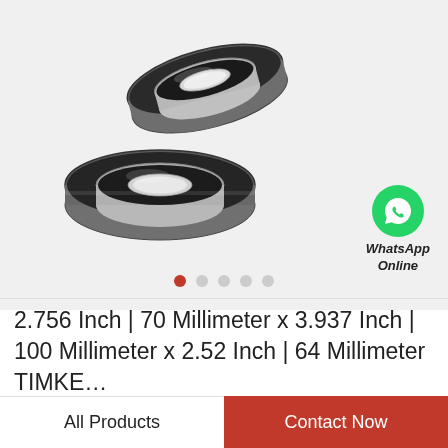[Figure (photo): Two ball bearings (steel with rubber seals) on a light grey background. One bearing tilted at an angle in the upper right, one flat in the lower left.]
WhatsApp Online
2.756 Inch | 70 Millimeter x 3.937 Inch | 100 Millimeter x 2.52 Inch | 64 Millimeter TIMKE…
All Products
Contact Now